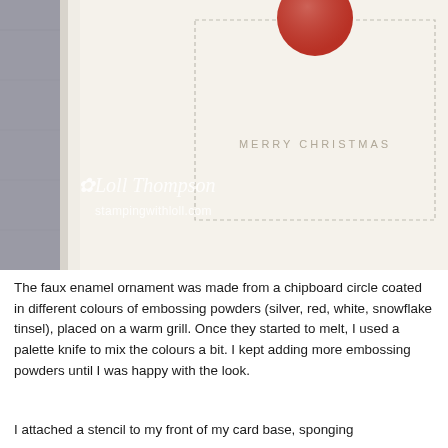[Figure (photo): Close-up photograph of a handmade Christmas card with a cream/white background showing 'MERRY CHRISTMAS' text with a decorative dashed border and a red faux enamel ornament at the top center. A watermark reads 'Loll Thompson stampingwithloll.com' in white script overlaid on the card image. The card is set against a gray wooden background.]
The faux enamel ornament was made from a chipboard circle coated in different colours of embossing powders (silver, red, white, snowflake tinsel), placed on a warm grill. Once they started to melt, I used a palette knife to mix the colours a bit.  I kept adding more embossing powders until I was happy with the look.
I attached a stencil to my front of my card base, sponging over it with a variant to add some resist to the...